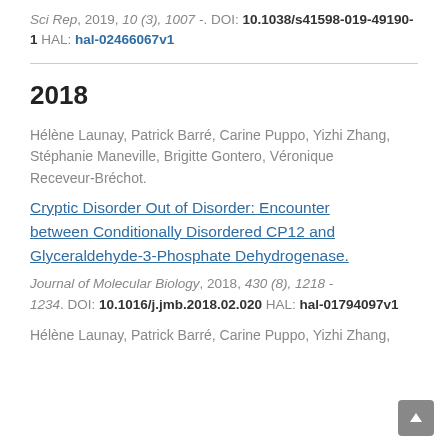Sci Rep, 2019, 10 (3), 1007 -. DOI: 10.1038/s41598-019-49190-1 HAL: hal-02466067v1
2018
Hélène Launay, Patrick Barré, Carine Puppo, Yizhi Zhang, Stéphanie Maneville, Brigitte Gontero, Véronique Receveur-Bréchot.
Cryptic Disorder Out of Disorder: Encounter between Conditionally Disordered CP12 and Glyceraldehyde-3-Phosphate Dehydrogenase.
Journal of Molecular Biology, 2018, 430 (8), 1218 - 1234. DOI: 10.1016/j.jmb.2018.02.020 HAL: hal-01794097v1
Hélène Launay, Patrick Barré, Carine Puppo, Yizhi Zhang,